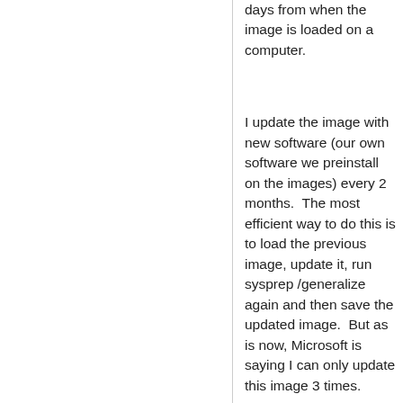days from when the image is loaded on a computer.
I update the image with new software (our own software we preinstall on the images) every 2 months.  The most efficient way to do this is to load the previous image, update it, run sysprep /generalize again and then save the updated image.  But as is now, Microsoft is saying I can only update this image 3 times.
What Microsoft is telling me is that every time I need to update an image I basically have to reinstall Windows fresh and reinstall and update all my software from scratch.  That's a huge amount extra work and is unacceptable.
In a lab environment where I need to reimage the same PC's over and over,